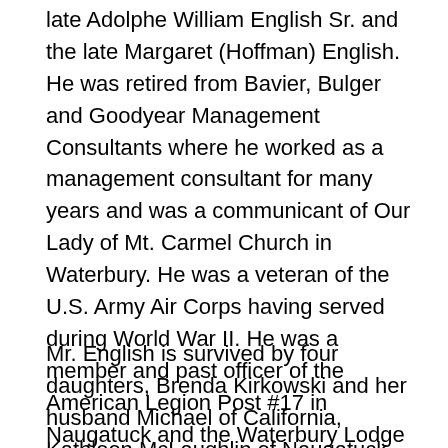late Adolphe William English Sr. and the late Margaret (Hoffman) English. He was retired from Bavier, Bulger and Goodyear Management Consultants where he worked as a management consultant for many years and was a communicant of Our Lady of Mt. Carmel Church in Waterbury. He was a veteran of the U.S. Army Air Corps having served during World War II. He was a member and past officer of the American Legion Post #17 in Naugatuck and the Waterbury Lodge of Elks. Mr. English spent many hours volunteering with Literacy Volunteers and also administered G.E.D. exams and delivered books to shut-ins for many years.
Mr. English is survived by four daughters, Brenda Kirkowski and her husband Michael of California, Kathleen McLaughlin of Naugatuck, Dorann Poynter of California and Mary Eileen Lee of Waterbury; seven grandchildren and four great grandchildren.